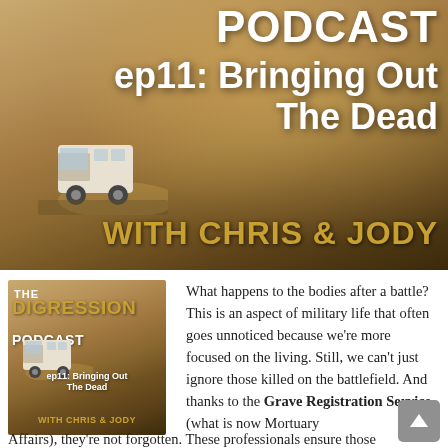[Figure (illustration): Podcast banner image showing a van driving on a dusty desert road with text: PODCAST, ep11: Bringing Out The Dead, WITH CHRIS & JODY]
[Figure (illustration): Thumbnail of The Digression Podcast cover art showing ep11: Bringing Out The Dead, WITH CHRIS & JODY over a desert van scene]
What happens to the bodies after a battle? This is an aspect of military life that often goes unnoticed because we're more focused on the living. Still, we can't just ignore those killed on the battlefield. And thanks to the Grave Registration Service (what is now Mortuary Affairs), they're not forgotten. These professionals ensure those who've made the ultimate sacrifice are treated with